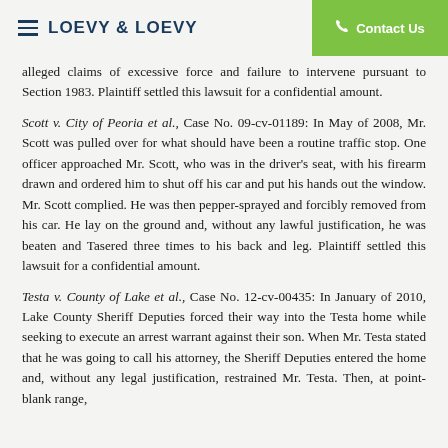LOEVY & LOEVY | Contact Us
alleged claims of excessive force and failure to intervene pursuant to Section 1983. Plaintiff settled this lawsuit for a confidential amount.
Scott v. City of Peoria et al., Case No. 09-cv-01189: In May of 2008, Mr. Scott was pulled over for what should have been a routine traffic stop. One officer approached Mr. Scott, who was in the driver's seat, with his firearm drawn and ordered him to shut off his car and put his hands out the window. Mr. Scott complied. He was then pepper-sprayed and forcibly removed from his car. He lay on the ground and, without any lawful justification, he was beaten and Tasered three times to his back and leg. Plaintiff settled this lawsuit for a confidential amount.
Testa v. County of Lake et al., Case No. 12-cv-00435: In January of 2010, Lake County Sheriff Deputies forced their way into the Testa home while seeking to execute an arrest warrant against their son. When Mr. Testa stated that he was going to call his attorney, the Sheriff Deputies entered the home and, without any legal justification, restrained Mr. Testa. Then, at point-blank range,